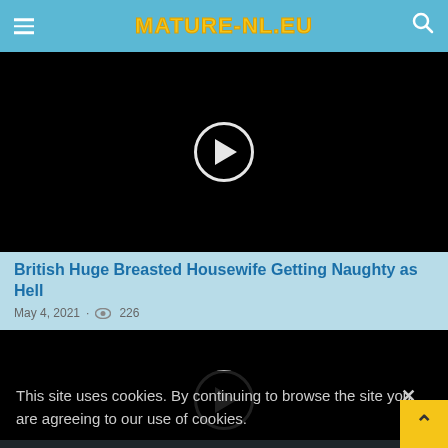MATURE-NL.EU
[Figure (screenshot): Black video thumbnail with circular play button overlay]
British Huge Breasted Housewife Getting Naughty as Hell
May 4, 2021 · 226
[Figure (screenshot): Second black video thumbnail with play button, partially obscured by cookie banner]
This site uses cookies. By continuing to browse the site you are agreeing to our use of cookies.